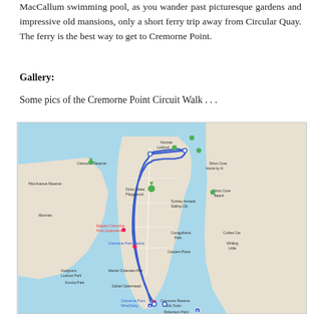MacCallum swimming pool, as you wander past picturesque gardens and impressive old mansions, only a short ferry trip away from Circular Quay. The ferry is the best way to get to Cremorne Point.
Gallery:
Some pics of the Cremorne Point Circuit Walk . . .
[Figure (map): Google Maps view of the Cremorne Point Circuit Walk route, showing a blue route line tracing around Cremorne Point peninsula in Sydney, with various location markers including Cremorne Reserve, Nutcote Lookout, Sirius Street Playground, Sydney Armada Sailing Club, Cremorne Point Marina, Cremorne Point Wharf, and Robertson Point Lighthouse.]